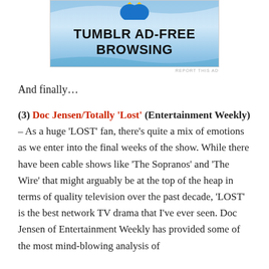[Figure (screenshot): Tumblr Ad-Free Browsing advertisement banner with blue sky background]
REPORT THIS AD
And finally…
(3) Doc Jensen/Totally 'Lost' (Entertainment Weekly) – As a huge 'LOST' fan, there's quite a mix of emotions as we enter into the final weeks of the show. While there have been cable shows like 'The Sopranos' and 'The Wire' that might arguably be at the top of the heap in terms of quality television over the past decade, 'LOST' is the best network TV drama that I've ever seen.  Doc Jensen of Entertainment Weekly has provided some of the most mind-blowing analysis of